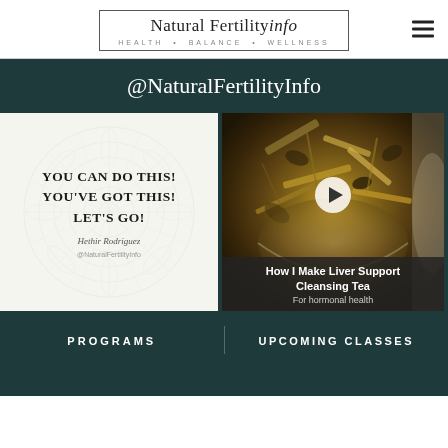Natural Fertility info — HEALTH • BALANCE • WELLNESS
@NaturalFertilityInfo
[Figure (photo): Motivational graphic on white background with mandala design showing text: YOU CAN DO THIS! YOU'VE GOT THIS! LET'S GO! with author Hethir Rodriguez and handle @NaturalFertilityInfo]
[Figure (photo): Video thumbnail showing dried herbs/tea leaves in a bowl with play button overlay and caption: How I Make Liver Support Cleansing Tea for hormonal health]
How I Make Liver Support Cleansing Tea — For hormonal health
PROGRAMS
UPCOMING CLASSES